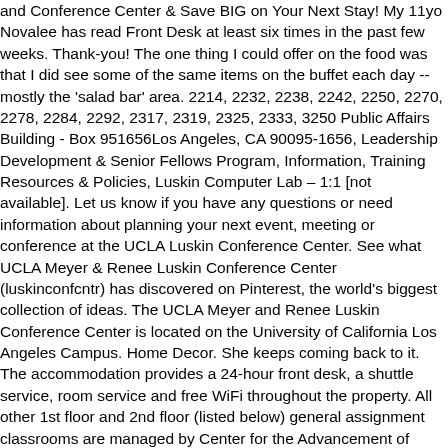and Conference Center & Save BIG on Your Next Stay! My 11yo Novalee has read Front Desk at least six times in the past few weeks. Thank-you! The one thing I could offer on the food was that I did see some of the same items on the buffet each day -- mostly the 'salad bar' area. 2214, 2232, 2238, 2242, 2250, 2270, 2278, 2284, 2292, 2317, 2319, 2325, 2333, 3250 Public Affairs Building - Box 951656Los Angeles, CA 90095-1656, Leadership Development & Senior Fellows Program, Information, Training Resources & Policies, Luskin Computer Lab – 1:1 [not available]. Let us know if you have any questions or need information about planning your next event, meeting or conference at the UCLA Luskin Conference Center. See what UCLA Meyer & Renee Luskin Conference Center (luskinconfcntr) has discovered on Pinterest, the world's biggest collection of ideas. The UCLA Meyer and Renee Luskin Conference Center is located on the University of California Los Angeles Campus. Home Decor. She keeps coming back to it. The accommodation provides a 24-hour front desk, a shuttle service, room service and free WiFi throughout the property. All other 1st floor and 2nd floor (listed below) general assignment classrooms are managed by Center for the Advancement of Teaching) for support. May 2019 – Present 1 year 6 months.